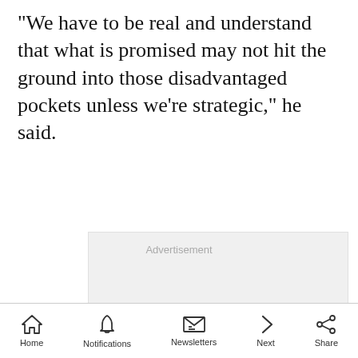"We have to be real and understand that what is promised may not hit the ground into those disadvantaged pockets unless we're strategic," he said.
[Figure (other): Advertisement placeholder box with grey background labeled 'Advertisement', containing an ad unit at the bottom reading 'Hack the Political System.' with a CrowdVote.IO badge]
Home  Notifications  Newsletters  Next  Share